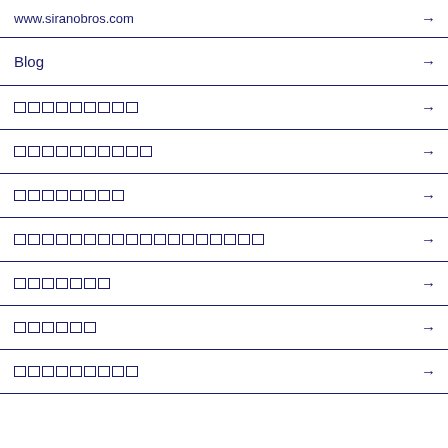www.siranobros.com
Blog
[placeholder boxes x9]
[placeholder boxes x10]
[placeholder boxes x8]
[placeholder boxes x18]
[placeholder boxes x7]
[placeholder boxes x6]
[placeholder boxes x9]